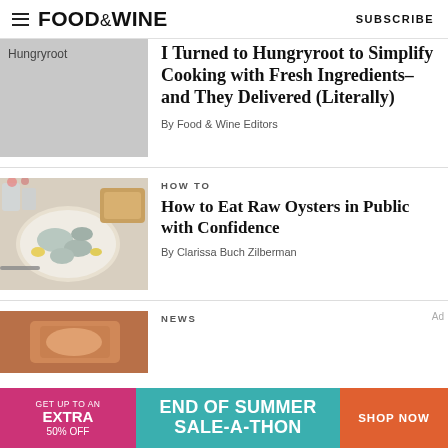FOOD&WINE  SUBSCRIBE
[Figure (photo): Gray placeholder image for Hungryroot article]
I Turned to Hungryroot to Simplify Cooking with Fresh Ingredients–and They Delivered (Literally)
By Food & Wine Editors
HOW TO
[Figure (photo): Photo of raw oysters on a plate with lemon wedges and bread on a wooden board]
How to Eat Raw Oysters in Public with Confidence
By Clarissa Buch Zilberman
NEWS
[Figure (photo): Partial news article image]
[Figure (infographic): Ad banner: GET UP TO AN EXTRA 50% OFF END OF SUMMER SALE-A-THON SHOP NOW]